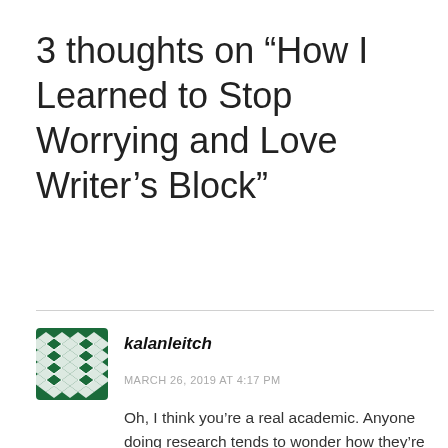3 thoughts on “How I Learned to Stop Worrying and Love Writer’s Block”
[Figure (illustration): Avatar icon with green and white diamond/cross geometric pattern on a dark green background]
kalanleitch
MARCH 26, 2019 AT 4:17 PM
Oh, I think you’re a real academic. Anyone doing research tends to wonder how they’re fitting into the pantheon.